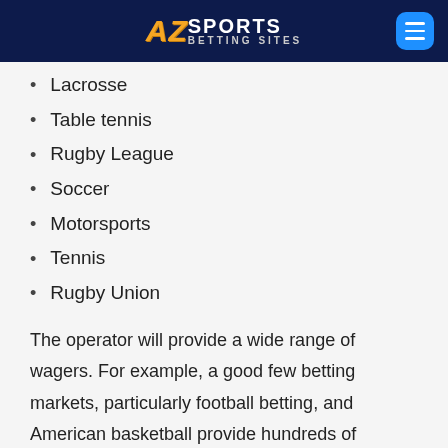AZ Sports Betting Sites
Lacrosse
Table tennis
Rugby League
Soccer
Motorsports
Tennis
Rugby Union
The operator will provide a wide range of wagers. For example, a good few betting markets, particularly football betting, and American basketball provide hundreds of different sorts of wagers on a sole game. Click on a game and/or a league to see all